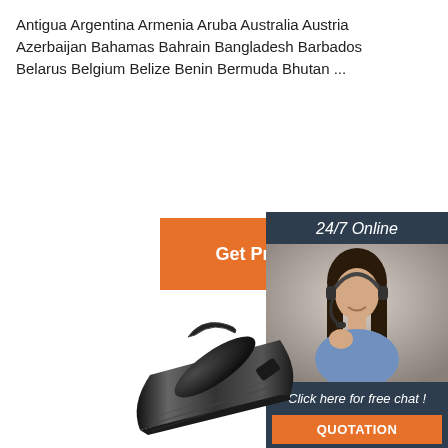Antigua Argentina Armenia Aruba Australia Austria Azerbaijan Bahamas Bahrain Bangladesh Barbados Belarus Belgium Belize Benin Bermuda Bhutan ...
[Figure (other): Orange 'Get Price' button]
[Figure (other): 24/7 online chat widget with customer service representative photo, 'Click here for free chat!' text, and orange QUOTATION button]
[Figure (photo): Black cylindrical industrial or electronic device/component photographed on white background]